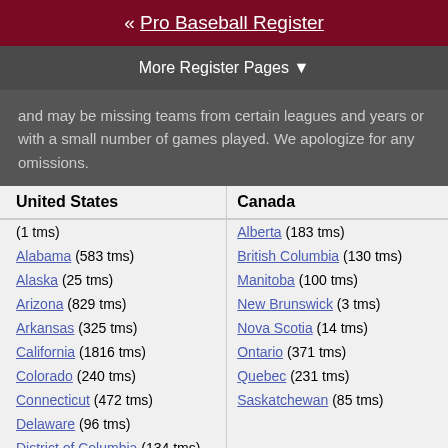« Pro Baseball Register
More Register Pages ▼
and may be missing teams from certain leagues and years or with a small number of games played. We apologize for any omissions.
| United States | Canada |
| --- | --- |
| (1 tms) | Alberta (183 tms) |
| Alabama (583 tms) | British Columbia (130 tms) |
| Alaska (25 tms) | Manitoba (100 tms) |
| Arizona (829 tms) | New Brunswick (3 tms) |
| Arkansas (325 tms) | Nova Scotia (14 tms) |
| California (1816 tms) | Ontario (371 tms) |
| Colorado (240 tms) | Quebec (231 tms) |
| Connecticut (472 tms) | Saskatchewan (85 tms) |
| Delaware (96 tms) |  |
| District of Columbia (134 tms) |  |
| Florida (2330 tms) |  |